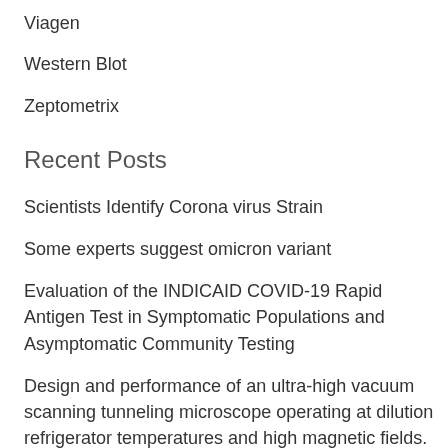Viagen
Western Blot
Zeptometrix
Recent Posts
Scientists Identify Corona virus Strain
Some experts suggest omicron variant
Evaluation of the INDICAID COVID-19 Rapid Antigen Test in Symptomatic Populations and Asymptomatic Community Testing
Design and performance of an ultra-high vacuum scanning tunneling microscope operating at dilution refrigerator temperatures and high magnetic fields.
COVID-19: Viral Transport Medium (VTM) for Diagnosis